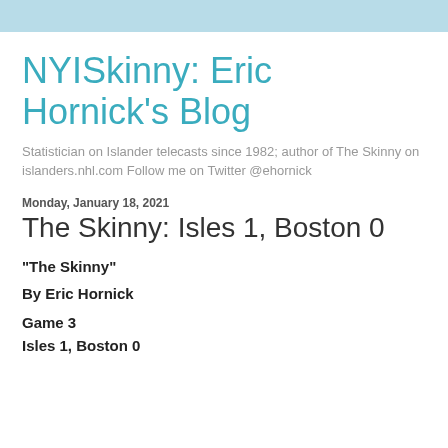NYISkinny: Eric Hornick's Blog
Statistician on Islander telecasts since 1982; author of The Skinny on islanders.nhl.com Follow me on Twitter @ehornick
Monday, January 18, 2021
The Skinny: Isles 1, Boston 0
"The Skinny"
By Eric Hornick
Game 3
Isles 1, Boston 0